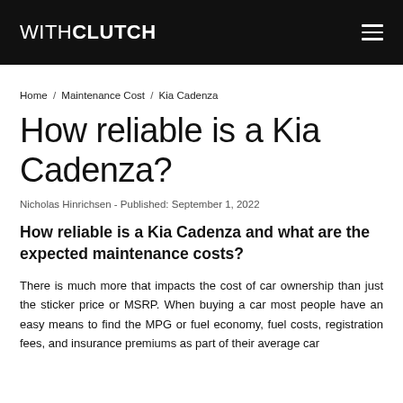WITHCLUTCH
Home / Maintenance Cost / Kia Cadenza
How reliable is a Kia Cadenza?
Nicholas Hinrichsen - Published: September 1, 2022
How reliable is a Kia Cadenza and what are the expected maintenance costs?
There is much more that impacts the cost of car ownership than just the sticker price or MSRP. When buying a car most people have an easy means to find the MPG or fuel economy, fuel costs, registration fees, and insurance premiums as part of their average car